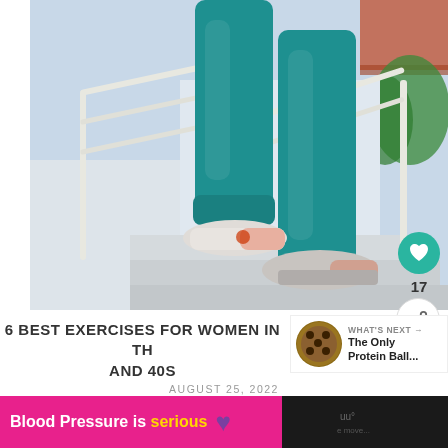[Figure (photo): Close-up photo of a woman's legs in teal/turquoise leggings and orange athletic shoes climbing outdoor stairs with white metal railings]
6 BEST EXERCISES FOR WOMEN IN TH... AND 40S
WHAT'S NEXT → The Only Protein Ball...
AUGUST 25, 2022
Blood Pressure is serious ♥
17